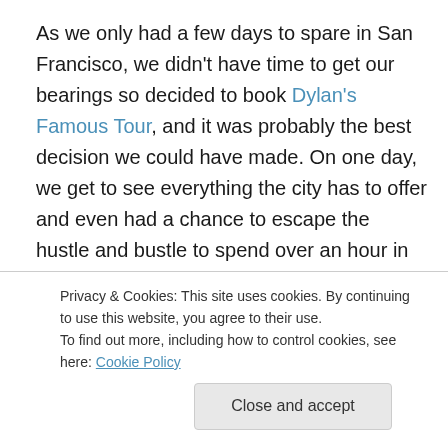As we only had a few days to spare in San Francisco, we didn't have time to get our bearings so decided to book Dylan's Famous Tour, and it was probably the best decision we could have made. On one day, we get to see everything the city has to offer and even had a chance to escape the hustle and bustle to spend over an hour in Muir Woods National Park.
The tour covered Fisherman's Wharf, Chinatown, City Hall, Twin Peaks, The Mission, The Castro, Pacific Heights, Presidio, Golden Gate Bridge, Fort Point and
Privacy & Cookies: This site uses cookies. By continuing to use this website, you agree to their use.
To find out more, including how to control cookies, see here: Cookie Policy
Close and accept